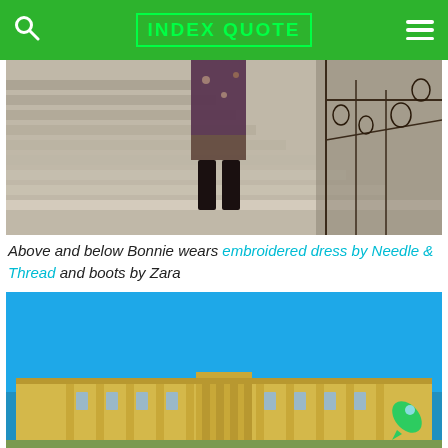INDEX QUOTE
[Figure (photo): Person wearing embroidered dress and black over-the-knee boots walking up ornate marble stairs with decorative iron railing]
Above and below Bonnie wears embroidered dress by Needle & Thread and boots by Zara
[Figure (photo): Schönbrunn Palace in Vienna with bright blue sky, yellow baroque facade visible from the courtyard]